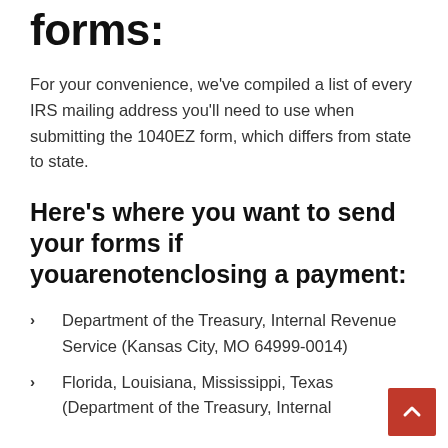forms:
For your convenience, we've compiled a list of every IRS mailing address you'll need to use when submitting the 1040EZ form, which differs from state to state.
Here's where you want to send your forms if youarenotenclosing a payment:
Department of the Treasury, Internal Revenue Service (Kansas City, MO 64999-0014)
Florida, Louisiana, Mississippi, Texas (Department of the Treasury, Internal